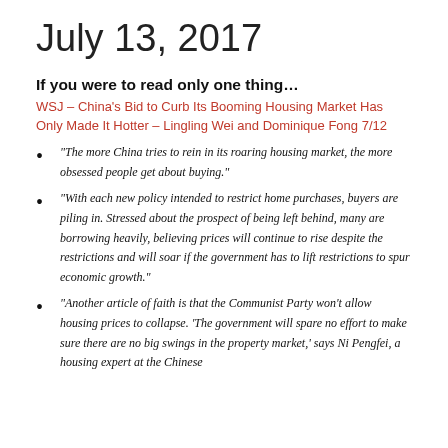July 13, 2017
If you were to read only one thing…
WSJ – China's Bid to Curb Its Booming Housing Market Has Only Made It Hotter – Lingling Wei and Dominique Fong 7/12
“The more China tries to rein in its roaring housing market, the more obsessed people get about buying.”
“With each new policy intended to restrict home purchases, buyers are piling in. Stressed about the prospect of being left behind, many are borrowing heavily, believing prices will continue to rise despite the restrictions and will soar if the government has to lift restrictions to spur economic growth.”
“Another article of faith is that the Communist Party won’t allow housing prices to collapse. ‘The government will spare no effort to make sure there are no big swings in the property market,’ says Ni Pengfei, a housing expert at the Chinese